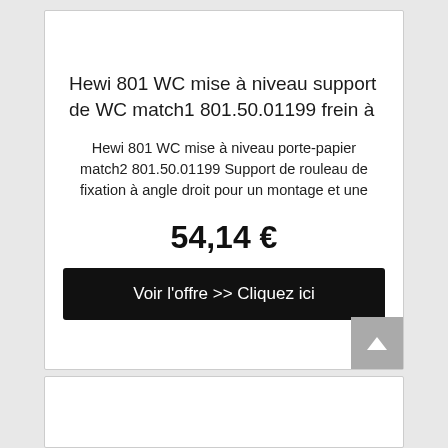Hewi 801 WC mise à niveau support de WC match1 801.50.01199 frein à
Hewi 801 WC mise à niveau porte-papier match2 801.50.01199 Support de rouleau de fixation à angle droit pour un montage et une
54,14 €
Voir l'offre >> Cliquez ici